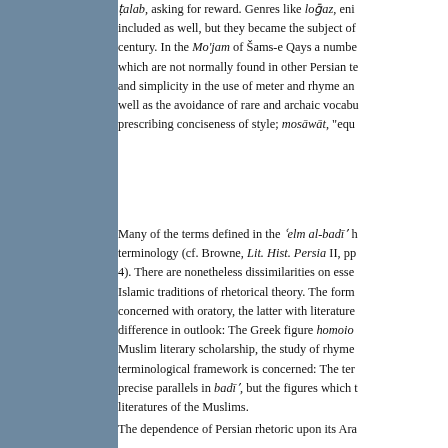ṭalab, asking for reward. Genres like loḡaz, enigmas, were included as well, but they became the subject of century. In the Mo'jam of Šams-e Qays a number which are not normally found in other Persian treatises and simplicity in the use of meter and rhyme and well as the avoidance of rare and archaic vocabulary prescribing conciseness of style; mosāwāt, "equ
Many of the terms defined in the 'elm al-badī' have terminology (cf. Browne, Lit. Hist. Persia II, pp 4). There are nonetheless dissimilarities on essential Islamic traditions of rhetorical theory. The former concerned with oratory, the latter with literature difference in outlook: The Greek figure homoiomeria Muslim literary scholarship, the study of rhyme terminological framework is concerned: The term precise parallels in badī', but the figures which literatures of the Muslims.
The dependence of Persian rhetoric upon its Ara